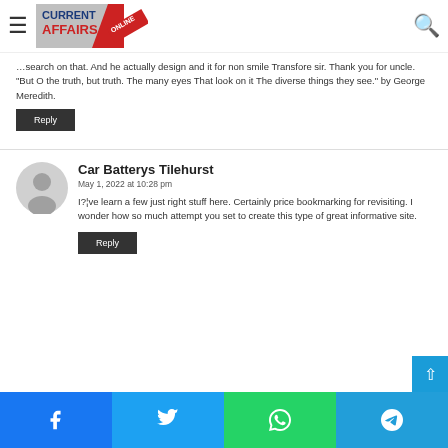Current Affairs Online — navigation bar with hamburger menu and search icon
...search on that. And he actually design and it for non smile Transfore sir. Thank you for uncle. "But O the truth, but truth. The many eyes That look on it The diverse things they see." by George Meredith.
Reply
Car Batterys Tilehurst
May 1, 2022 at 10:28 pm
I?¦ve learn a few just right stuff here. Certainly price bookmarking for revisiting. I wonder how so much attempt you set to create this type of great informative site.
Reply
Share bar: Facebook, Twitter, WhatsApp, Telegram